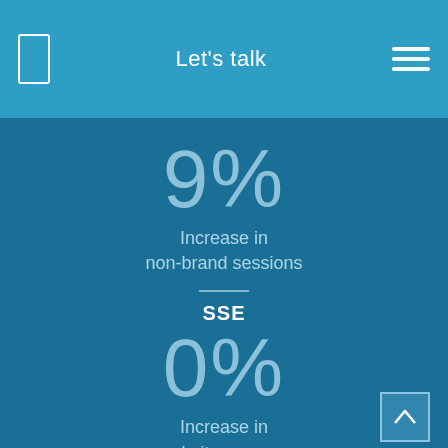Let's talk
9%
Increase in non-brand sessions
SSE
0%
Increase in website revenue